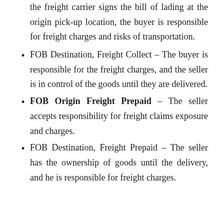the freight carrier signs the bill of lading at the origin pick-up location, the buyer is responsible for freight charges and risks of transportation.
FOB Destination, Freight Collect – The buyer is responsible for the freight charges, and the seller is in control of the goods until they are delivered.
FOB Origin Freight Prepaid – The seller accepts responsibility for freight claims exposure and charges.
FOB Destination, Freight Prepaid – The seller has the ownership of goods until the delivery, and he is responsible for freight charges.